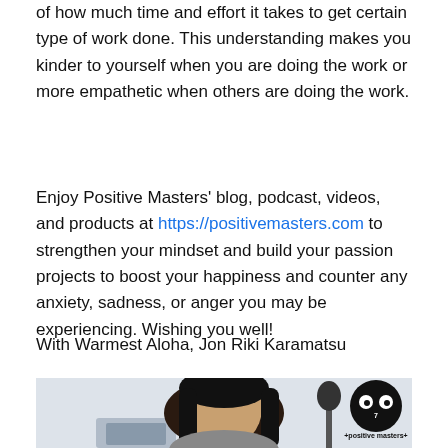of how much time and effort it takes to get certain type of work done. This understanding makes you kinder to yourself when you are doing the work or more empathetic when others are doing the work.
Enjoy Positive Masters' blog, podcast, videos, and products at https://positivemasters.com to strengthen your mindset and build your passion projects to boost your happiness and counter any anxiety, sadness, or anger you may be experiencing. Wishing you well!
With Warmest Aloha, Jon Riki Karamatsu
[Figure (photo): Photo of Jon Riki Karamatsu, a man with long dark hair, sitting in front of a microphone and laptop in a home studio setting. A Positive Masters logo (black circle with cartoon eyes and '+positive masters+' text) is overlaid in the top right of the photo.]